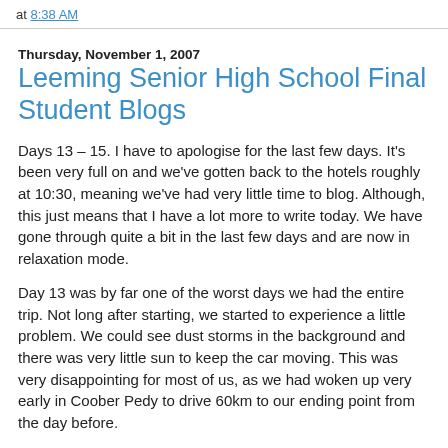at 8:38 AM
Thursday, November 1, 2007
Leeming Senior High School Final Student Blogs
Days 13 – 15. I have to apologise for the last few days. It's been very full on and we've gotten back to the hotels roughly at 10:30, meaning we've had very little time to blog. Although, this just means that I have a lot more to write today. We have gone through quite a bit in the last few days and are now in relaxation mode.
Day 13 was by far one of the worst days we had the entire trip. Not long after starting, we started to experience a little problem. We could see dust storms in the background and there was very little sun to keep the car moving. This was very disappointing for most of us, as we had woken up very early in Coober Pedy to drive 60km to our ending point from the day before.